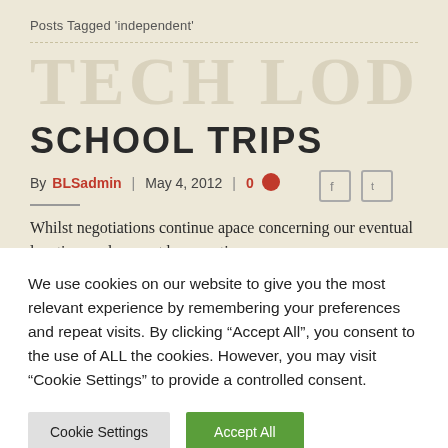Posts Tagged 'independent'
SCHOOL TRIPS
By BLSadmin | May 4, 2012 | 0
Whilst negotiations continue apace concerning our eventual location we have not been resting on our
We use cookies on our website to give you the most relevant experience by remembering your preferences and repeat visits. By clicking “Accept All”, you consent to the use of ALL the cookies. However, you may visit "Cookie Settings" to provide a controlled consent.
Cookie Settings   Accept All